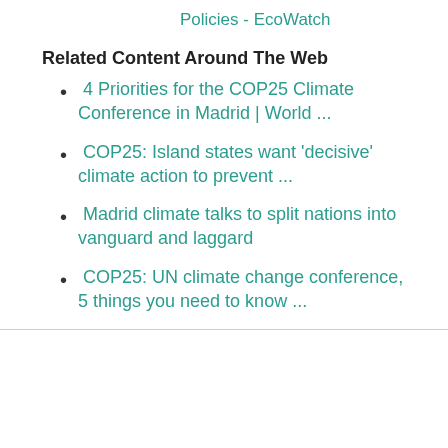Policies - EcoWatch
Related Content Around The Web
4 Priorities for the COP25 Climate Conference in Madrid | World ...
COP25: Island states want 'decisive' climate action to prevent ...
Madrid climate talks to split nations into vanguard and laggard
COP25: UN climate change conference, 5 things you need to know ...